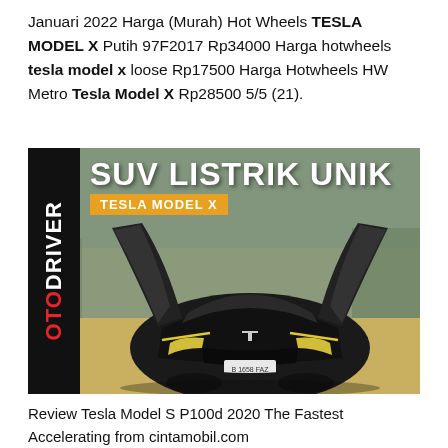Januari 2022 Harga (Murah) Hot Wheels TESLA MODEL X Putih 97F2017 Rp34000 Harga hotwheels tesla model x loose Rp17500 Harga Hotwheels HW Metro Tesla Model X Rp28500 5/5 (21).
[Figure (photo): OtoDriver magazine-style thumbnail showing a black Tesla Model X SUV with falcon-wing doors open, photographed from the front on a paved outdoor area. White bold text reads 'SUV LISTRIK UNIK' and an orange badge reads 'TESLA MODEL X'. The OtoDriver logo appears vertically on the left sidebar.]
Review Tesla Model S P100d 2020 The Fastest Accelerating from cintamobil.com
Tawaran Terbaik dari Mobil123com Tesla Model X